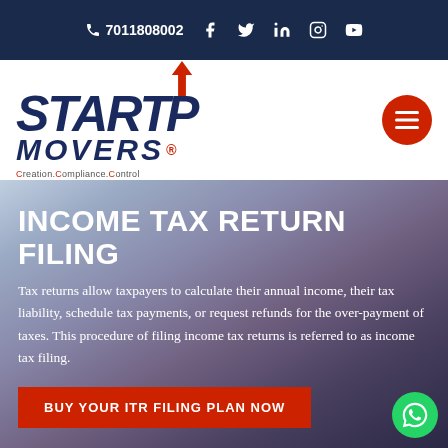☎ 7011808002 [social icons: Facebook, Twitter, LinkedIn, Instagram, YouTube]
[Figure (logo): Startup Movers logo with red upward arrow, navy blue text reading STARTUP MOVERS, tagline Creation.Compliance.Control, and red hamburger menu button on right]
INCOME TAX RETURN FILING
Tax returns allow taxpayers to calculate their annual income, their tax liability, schedule tax payments, or request refunds for the over-payment of taxes. This procedure of filing income tax returns is referred to as income tax filing.
BUY YOUR ITR FILING PLAN NOW